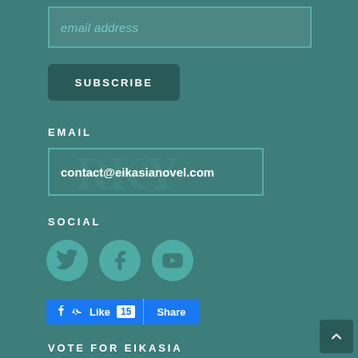email address
SUBSCRIBE
EMAIL
contact@eikasianovel.com
SOCIAL
[Figure (infographic): Three social media icon circles: Twitter bird, Facebook F, YouTube play button]
[Figure (screenshot): Facebook Like 15 and Share buttons]
VOTE FOR EIKASIA
Click here and give us a boost at Top Web